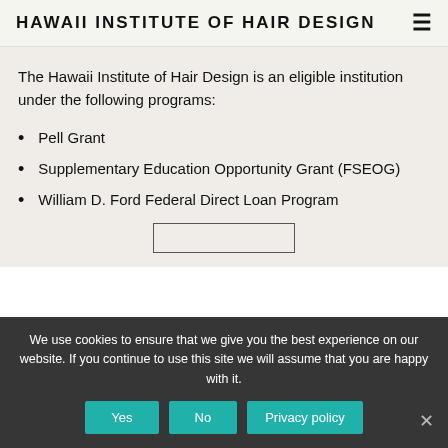HAWAII INSTITUTE OF HAIR DESIGN
The Hawaii Institute of Hair Design is an eligible institution under the following programs:
Pell Grant
Supplementary Education Opportunity Grant (FSEOG)
William D. Ford Federal Direct Loan Program
We use cookies to ensure that we give you the best experience on our website. If you continue to use this site we will assume that you are happy with it.